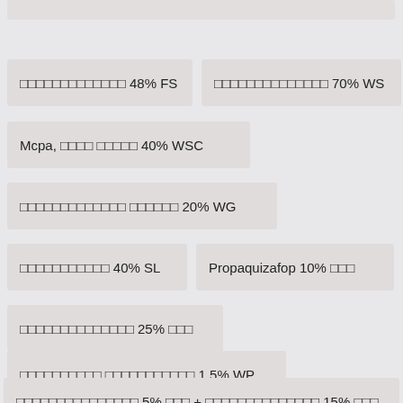□□□□□□□□□□□□□ 48% FS
□□□□□□□□□□□□□□ 70% WS
Mcpa, □□□□ □□□□□ 40% WSC
□□□□□□□□□□□□□ □□□□□□ 20% WG
□□□□□□□□□□□ 40% SL
Propaquizafop 10% □□□
□□□□□□□□□□□□□□ 25% □□□
□□□□□□□□□□ □□□□□□□□□□□ 1.5% WP
□□□□□□□□□□□□□□□ 5% □□□ + □□□□□□□□□□□□□□ 15% □□□